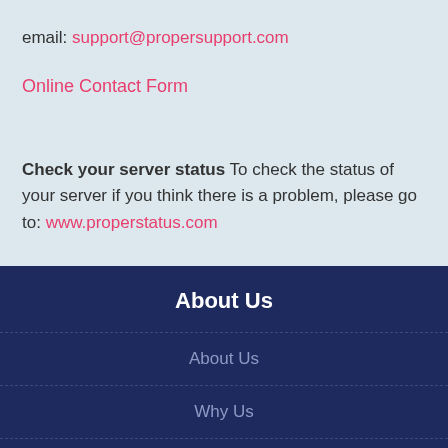email: support@propersupport.com
Online Contact Form
Check your server status To check the status of your server if you think there is a problem, please go to: www.properstatus.com
About Us
About Us
Why Us
Contact Us
Customer Support
Videos